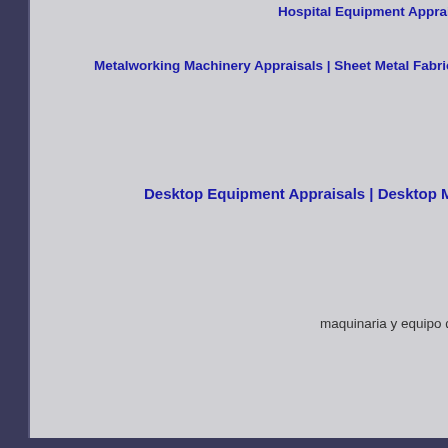Hospital Equipment Appraisals | Wo...
Metalworking Machinery Appraisals | Sheet Metal Fabricating App...
Desktop Equipment Appraisals | Desktop Machi...
maquinaria y equipo de tas...
International network of registered plant & machinery valuers...
[Figure (photo): American flag waving, mounted on a pole, displayed in a white-bordered box]
[Figure (photo): Partial image of a dark/black banner with white bird or logo mark and text 'Ne...']